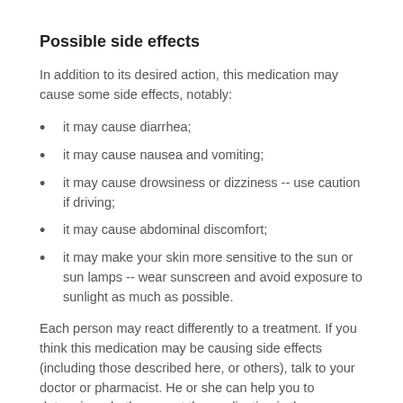Possible side effects
In addition to its desired action, this medication may cause some side effects, notably:
it may cause diarrhea;
it may cause nausea and vomiting;
it may cause drowsiness or dizziness -- use caution if driving;
it may cause abdominal discomfort;
it may make your skin more sensitive to the sun or sun lamps -- wear sunscreen and avoid exposure to sunlight as much as possible.
Each person may react differently to a treatment. If you think this medication may be causing side effects (including those described here, or others), talk to your doctor or pharmacist. He or she can help you to determine whether or not the medication is the source